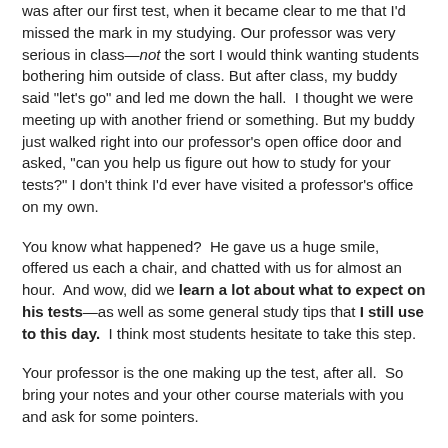was after our first test, when it became clear to me that I'd missed the mark in my studying. Our professor was very serious in class—not the sort I would think wanting students bothering him outside of class. But after class, my buddy said "let's go" and led me down the hall.  I thought we were meeting up with another friend or something. But my buddy just walked right into our professor's open office door and asked, "can you help us figure out how to study for your tests?" I don't think I'd ever have visited a professor's office on my own.
You know what happened?  He gave us a huge smile, offered us each a chair, and chatted with us for almost an hour.  And wow, did we learn a lot about what to expect on his tests—as well as some general study tips that I still use to this day.  I think most students hesitate to take this step.
Your professor is the one making up the test, after all.  So bring your notes and your other course materials with you and ask for some pointers.
Before doing that, I would look carefully at the course syllabus.  Often, there are hints (or outright guidance) on...